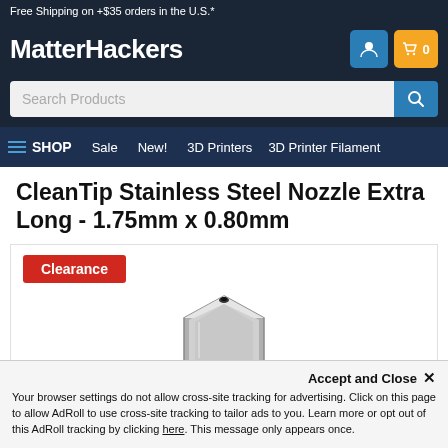Free Shipping on +$35 orders in the U.S.*
MatterHackers
Search Products
SHOP  Sale  New!  3D Printers  3D Printer Filament
CleanTip Stainless Steel Nozzle Extra Long - 1.75mm x 0.80mm
[Figure (photo): A stainless steel 3D printer nozzle with a hexagonal base, shown from above at an angle, with a small hole visible at the tip. A red 'Clearance' badge is shown in the top-left of the product image box.]
Accept and Close ×
Your browser settings do not allow cross-site tracking for advertising. Click on this page to allow AdRoll to use cross-site tracking to tailor ads to you. Learn more or opt out of this AdRoll tracking by clicking here. This message only appears once.